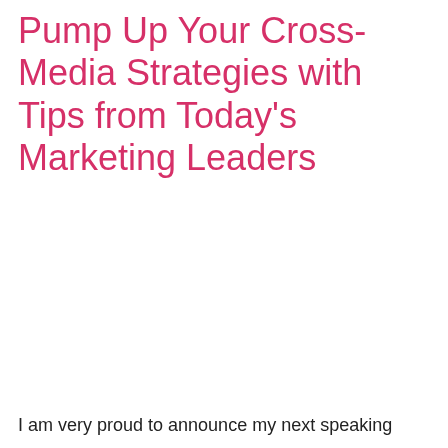Pump Up Your Cross-Media Strategies with Tips from Today's Marketing Leaders
I am very proud to announce my next speaking